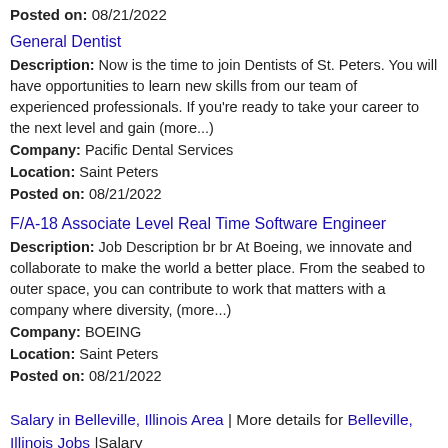Posted on: 08/21/2022
General Dentist
Description: Now is the time to join Dentists of St. Peters. You will have opportunities to learn new skills from our team of experienced professionals. If you're ready to take your career to the next level and gain (more...)
Company: Pacific Dental Services
Location: Saint Peters
Posted on: 08/21/2022
F/A-18 Associate Level Real Time Software Engineer
Description: Job Description br br At Boeing, we innovate and collaborate to make the world a better place. From the seabed to outer space, you can contribute to work that matters with a company where diversity, (more...)
Company: BOEING
Location: Saint Peters
Posted on: 08/21/2022
Salary in Belleville, Illinois Area | More details for Belleville, Illinois Jobs |Salary